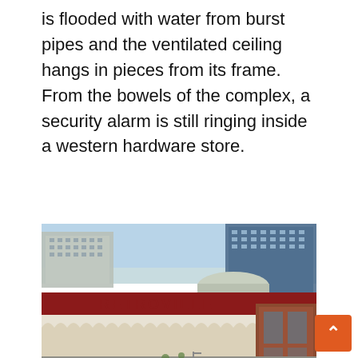is flooded with water from burst pipes and the ventilated ceiling hangs in pieces from its frame. From the bowels of the complex, a security alarm is still ringing inside a western hardware store.
[Figure (photo): Exterior view of Retroville shopping center in Kyiv before the attack. Large retail building with red roof trim and RETROVILLE letters on top, empty parking lot in foreground, residential and commercial buildings in background.]
shopping center in kyiv before the attack" src="https://i.guim.co.uk/img/media/58973b2e 128c88d51a1b7500d4a518b58c4fe8/124_525_